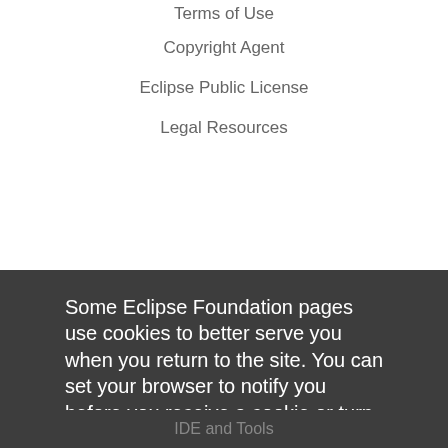Terms of Use
Copyright Agent
Eclipse Public License
Legal Resources
Some Eclipse Foundation pages use cookies to better serve you when you return to the site. You can set your browser to notify you before you receive a cookie or turn off cookies. If you do so, however, some areas of some sites may not function properly. To read Eclipse Foundation Privacy Policy click here.
IDE and Tools